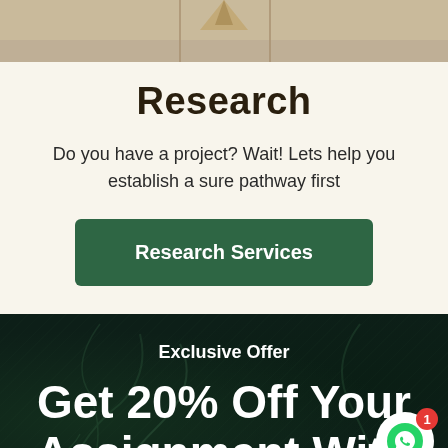[Figure (photo): Partial top image showing sandy/wooden surface, cropped at top of page]
Research
Do you have a project? Wait! Lets help you establish a sure pathway first
Research Services
Exclusive Offer
Get 20% Off Your Assignment With